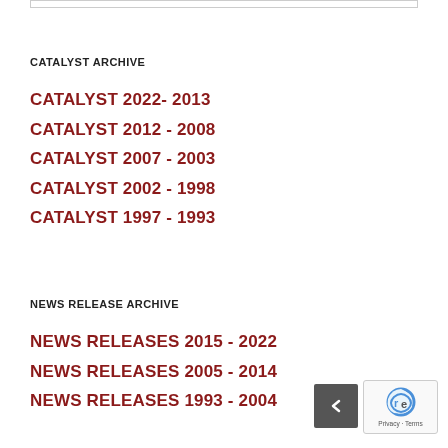CATALYST ARCHIVE
CATALYST 2022- 2013
CATALYST 2012 - 2008
CATALYST 2007 - 2003
CATALYST 2002 - 1998
CATALYST 1997 - 1993
NEWS RELEASE ARCHIVE
NEWS RELEASES 2015 - 2022
NEWS RELEASES 2005 - 2014
NEWS RELEASES 1993 - 2004